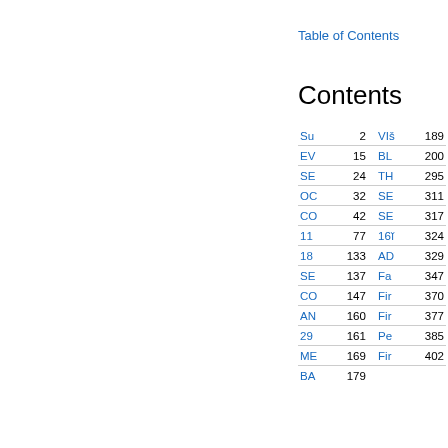Table of Contents
Contents
| Name | Page | Name | Page |
| --- | --- | --- | --- |
| Su | 2 | VIŠ | 189 |
| EV | 15 | BL | 200 |
| SE | 24 | TH | 295 |
| OC | 32 | SE | 311 |
| CO | 42 | SE | 317 |
| 11 | 77 | 16́ | 324 |
| 18 | 133 | AD | 329 |
| SE | 137 | Fa | 347 |
| CO | 147 | Fir | 370 |
| AN | 160 | Fir | 377 |
| 29 | 161 | Pe | 385 |
| ME | 169 | Fir | 402 |
| BA | 179 |  |  |